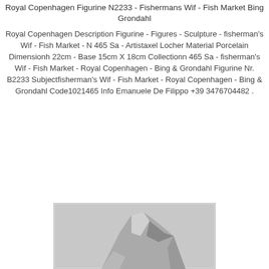Royal Copenhagen Figurine N2233 - Fishermans Wif - Fish Market Bing Grondahl
Royal Copenhagen Description Figurine - Figures - Sculpture - fisherman's Wif - Fish Market - N 465 Sa - Artistaxel Locher Material Porcelain Dimensionh 22cm - Base 15cm X 18cm Collectionn 465 Sa - fisherman's Wif - Fish Market - Royal Copenhagen - Bing & Grondahl Figurine Nr. B2233 Subjectfisherman's Wif - Fish Market - Royal Copenhagen - Bing & Grondahl Code1021465 Info Emanuele De Filippo +39 3476704482 .
[Figure (photo): Partial image of a Royal Copenhagen figurine showing a fisherman's wife at a fish market, partially visible at the bottom of the page, grayscale/black and white]